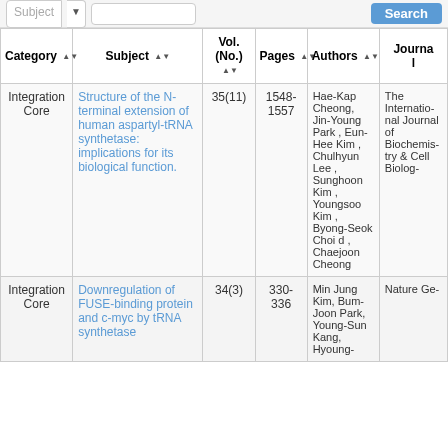Subject search bar with dropdown and Search button
| Category | Subject | Vol. (No.) | Pages | Authors | Journal |
| --- | --- | --- | --- | --- | --- |
| Integration Core | Structure of the N-terminal extension of human aspartyl-tRNA synthetase: implications for its biological function. | 35(11) | 1548-1557 | Hae-Kap Cheong, Jin-Young Park , Eun-Hee Kim , Chulhyun Lee , Sunghoon Kim , Youngsoo Kim , Byong-Seok Choi d , Chaejoon Cheong | The International Journal of Biochemistry & Cell Biology |
| Integration Core | Downregulation of FUSE-binding protein and c-myc by tRNA synthetase | 34(3) | 330-336 | Min Jung Kim, Bum-Joon Park, Young-Sun Kang, Hyoung... | Nature Ge... |